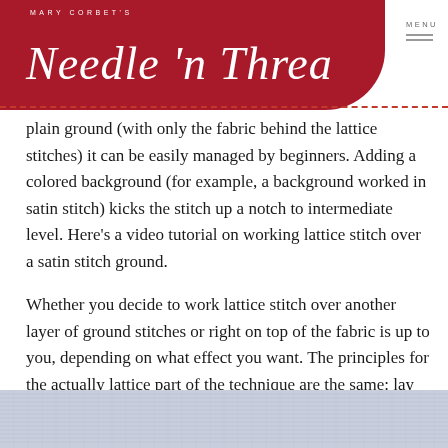MARY CORBET'S Needle 'n Thread
plain ground (with only the fabric behind the lattice stitches) it can be easily managed by beginners. Adding a colored background (for example, a background worked in satin stitch) kicks the stitch up a notch to intermediate level. Here's a video tutorial on working lattice stitch over a satin stitch ground.
Whether you decide to work lattice stitch over another layer of ground stitches or right on top of the fabric is up to you, depending on what effect you want. The principles for the actually lattice part of the technique are the same: lay down your crossing threads, then couch them at the intersections.
In the video below, I'm taking you through the satin stitching for the background of the lattice work, and then laying the lattice threads, then couching them, and finishing with a decorative border. Here's the result of the piece I'm working on in the video. It's about an inch square.
[Figure (photo): Close-up photo of embroidery fabric showing lattice stitch work, visible at the bottom of the page]